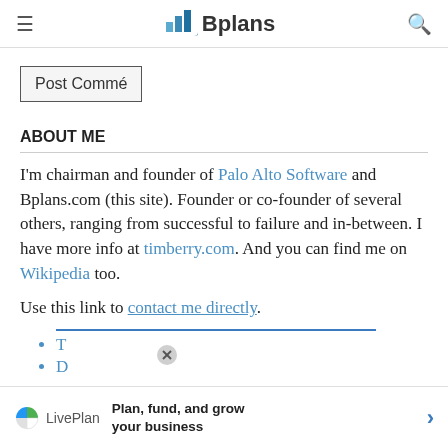Bplans
Post Comme
ABOUT ME
I'm chairman and founder of Palo Alto Software and Bplans.com (this site). Founder or co-founder of several others, ranging from successful to failure and in-between. I have more info at timberry.com. And you can find me on Wikipedia too.
Use this link to contact me directly.
T
D
Plan, fund, and grow your business